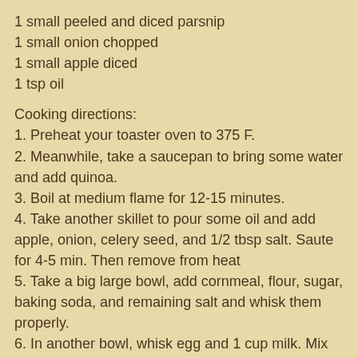1 small peeled and diced parsnip
1 small onion chopped
1 small apple diced
1 tsp oil
Cooking directions:
1. Preheat your toaster oven to 375 F.
2. Meanwhile, take a saucepan to bring some water and add quinoa.
3. Boil at medium flame for 12-15 minutes.
4. Take another skillet to pour some oil and add apple, onion, celery seed, and 1/2 tbsp salt. Saute for 4-5 min. Then remove from heat
5. Take a big large bowl, add cornmeal, flour, sugar, baking soda, and remaining salt and whisk them properly.
6. In another bowl, whisk egg and 1 cup milk. Mix to cornmeal mixture, stirring around.
7. Pour out the quinoa and apple mixture into the main bowl. Mix well.
8. Transfer to baking pan and then to the toaster oven.
9. Bake for 25-30 minutes.
10. Let stand for 2-3 minutes just before serving.